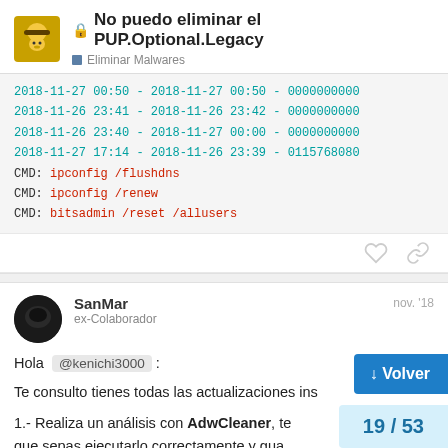No puedo eliminar el PUP.Optional.Legacy | Eliminar Malwares
2018-11-27 00:50 - 2018-11-27 00:50 - 000000000
2018-11-26 23:41 - 2018-11-26 23:42 - 000000000
2018-11-26 23:40 - 2018-11-27 00:00 - 000000000
2018-11-27 17:14 - 2018-11-26 23:39 - 011576808
CMD: ipconfig /flushdns
CMD: ipconfig /renew
CMD: bitsadmin /reset /allusers
SanMar
ex-Colaborador
nov. '18
Hola @kenichi3000 :
Te consulto tienes todas las actualizaciones ins
1.- Realiza un análisis con AdwCleaner, te que sepas ejecutarlo correctamente y gua